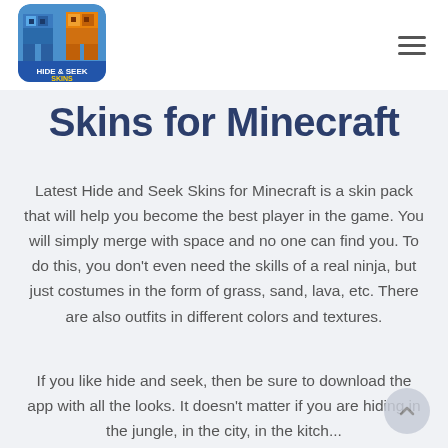[Figure (logo): Hide & Seek Skins app logo with blue and orange blocky Minecraft-style characters]
Skins for Minecraft
Latest Hide and Seek Skins for Minecraft is a skin pack that will help you become the best player in the game. You will simply merge with space and no one can find you. To do this, you don't even need the skills of a real ninja, but just costumes in the form of grass, sand, lava, etc. There are also outfits in different colors and textures.
If you like hide and seek, then be sure to download the app with all the looks. It doesn't matter if you are hiding in the jungle, in the city, in the kitchen...